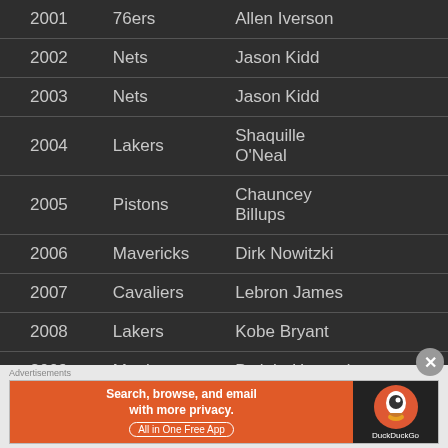| Year | Team | Player |  |
| --- | --- | --- | --- |
| 2001 | 76ers | Allen Iverson |  |
| 2002 | Nets | Jason Kidd |  |
| 2003 | Nets | Jason Kidd |  |
| 2004 | Lakers | Shaquille O'Neal |  |
| 2005 | Pistons | Chauncey Billups |  |
| 2006 | Mavericks | Dirk Nowitzki |  |
| 2007 | Cavaliers | Lebron James |  |
| 2008 | Lakers | Kobe Bryant |  |
| 2009 | Magic | Dwight Howard |  |
| 2010 | Celtics | Kevin Garnett | Rajon Rondo |
| 2011 | Heat | Dwyane Wade |  |
Advertisements
[Figure (other): DuckDuckGo advertisement banner: Search, browse, and email with more privacy. All in One Free App]